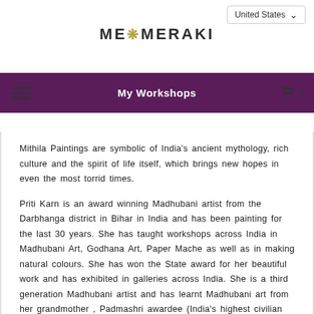United States
ME❋MERAKI
My Workshops
Mithila Paintings are symbolic of India's ancient mythology, rich culture and the spirit of life itself, which brings new hopes in even the most torrid times.
Priti Karn is an award winning Madhubani artist from the Darbhanga district in Bihar in India and has been painting for the last 30 years. She has taught workshops across India in Madhubani Art, Godhana Art, Paper Mache as well as in making natural colours. She has won the State award for her beautiful work and has exhibited in galleries across India. She is a third generation Madhubani artist and has learnt Madhubani art from her grandmother , Padmashri awardee (India's highest civilian award)